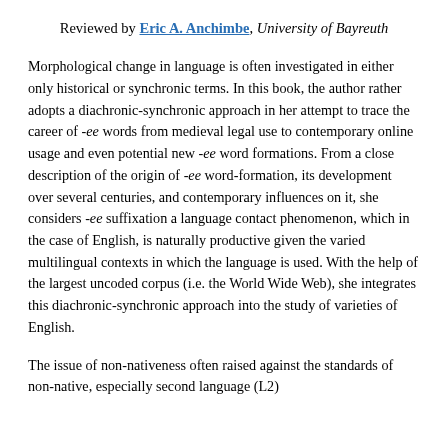Reviewed by Eric A. Anchimbe, University of Bayreuth
Morphological change in language is often investigated in either only historical or synchronic terms. In this book, the author rather adopts a diachronic-synchronic approach in her attempt to trace the career of -ee words from medieval legal use to contemporary online usage and even potential new -ee word formations. From a close description of the origin of -ee word-formation, its development over several centuries, and contemporary influences on it, she considers -ee suffixation a language contact phenomenon, which in the case of English, is naturally productive given the varied multilingual contexts in which the language is used. With the help of the largest uncoded corpus (i.e. the World Wide Web), she integrates this diachronic-synchronic approach into the study of varieties of English.
The issue of non-nativeness often raised against the standards of non-native, especially second language (L2)